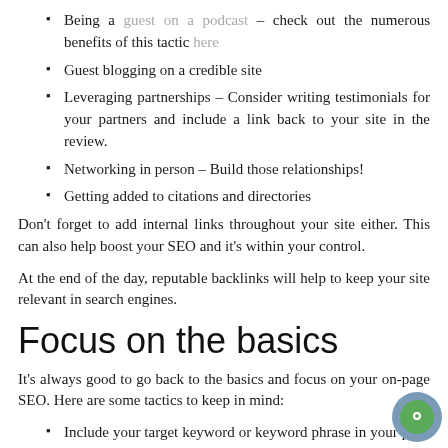Being a guest on a podcast – check out the numerous benefits of this tactic here
Guest blogging on a credible site
Leveraging partnerships – Consider writing testimonials for your partners and include a link back to your site in the review.
Networking in person – Build those relationships!
Getting added to citations and directories
Don't forget to add internal links throughout your site either. This can also help boost your SEO and it's within your control.
At the end of the day, reputable backlinks will help to keep your site relevant in search engines.
Focus on the basics
It's always good to go back to the basics and focus on your on-page SEO. Here are some tactics to keep in mind:
Include your target keyword or keyword phrase in your page title, meta description, H1 tags, URL, and especially within your copy (but don't overdo it).